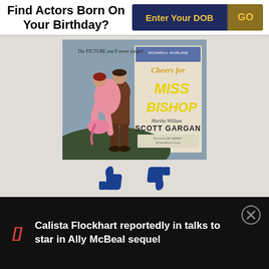Find Actors Born On Your Birthday?
Enter Your DOB
GO
[Figure (photo): Movie poster for 'Cheers for Miss Bishop' starring Martha Scott and William Gargan, showing a man carrying a woman in a pink dress, with the movie title in large yellow letters.]
[Figure (illustration): Thumbs up and thumbs down icons in blue]
Calista Flockhart reportedly in talks to star in Ally McBeal sequel